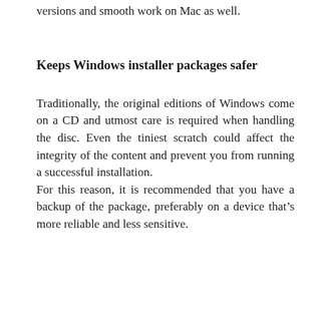versions and smooth work on Mac as well.
Keeps Windows installer packages safer
Traditionally, the original editions of Windows come on a CD and utmost care is required when handling the disc. Even the tiniest scratch could affect the integrity of the content and prevent you from running a successful installation.
For this reason, it is recommended that you have a backup of the package, preferably on a device that’s more reliable and less sensitive.